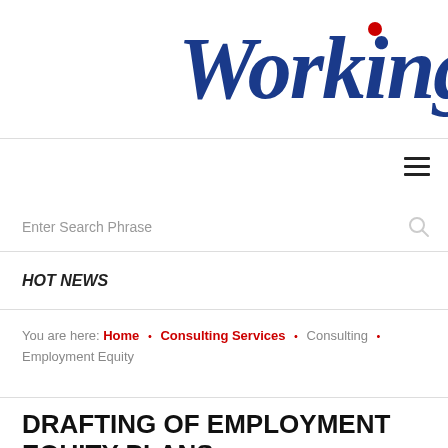Working
Enter Search Phrase
HOT NEWS
You are here: Home • Consulting Services • Consulting • Employment Equity
DRAFTING OF EMPLOYMENT EQUITY PLANS